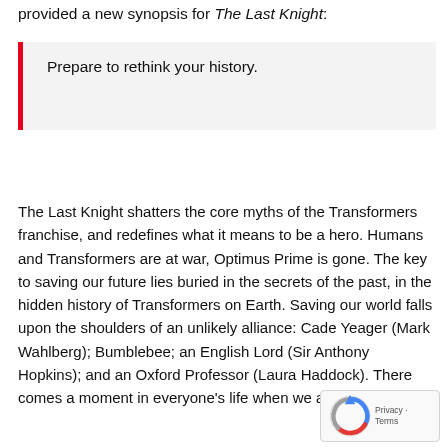provided a new synopsis for The Last Knight:
Prepare to rethink your history.
The Last Knight shatters the core myths of the Transformers franchise, and redefines what it means to be a hero. Humans and Transformers are at war, Optimus Prime is gone. The key to saving our future lies buried in the secrets of the past, in the hidden history of Transformers on Earth. Saving our world falls upon the shoulders of an unlikely alliance: Cade Yeager (Mark Wahlberg); Bumblebee; an English Lord (Sir Anthony Hopkins); and an Oxford Professor (Laura Haddock). There comes a moment in everyone's life when we are called upon to
[Figure (logo): reCAPTCHA badge with Privacy and Terms text]